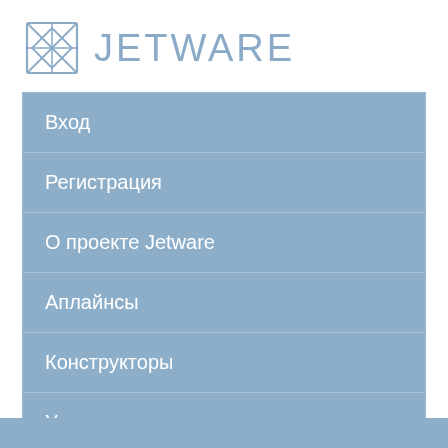[Figure (logo): Jetware logo with geometric cube icon and JETWARE text in light blue]
Вход
Регистрация
О проекте Jetware
Аплайнсы
Конструкторы
Услуги
Компания